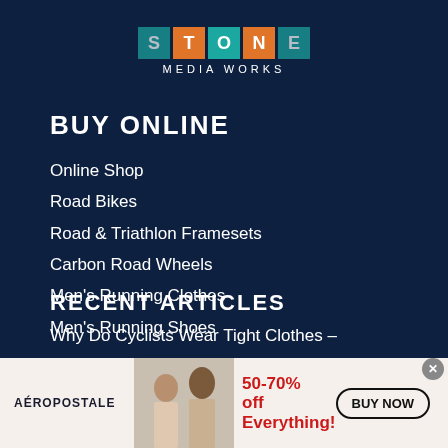[Figure (logo): Stone Media Works logo with colored letter tiles and text MEDIA WORKS below]
BUY ONLINE
Online Shop
Road Bikes
Road & Triathlon Framesets
Carbon Road Wheels
Men's Running Clothes
Men's Running Shoes
RECENT ARTICLES
Why Do Cyclists Wear Tight Clothes –
[Figure (infographic): Aéropostale advertisement banner: 50-70% off Everything! BUY NOW button, two female models]